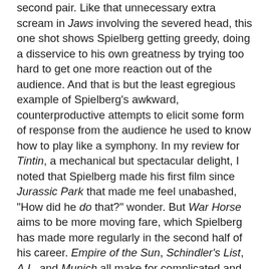second pair. Like that unnecessary extra scream in Jaws involving the severed head, this one shot shows Spielberg getting greedy, doing a disservice to his own greatness by trying too hard to get one more reaction out of the audience. And that is but the least egregious example of Spielberg's awkward, counterproductive attempts to elicit some form of response from the audience he used to know how to play like a symphony. In my review for Tintin, a mechanical but spectacular delight, I noted that Spielberg made his first film since Jurassic Park that made me feel unabashed, "How did he do that?" wonder. But War Horse aims to be more moving fare, which Spielberg has made more regularly in the second half of his career. Empire of the Sun, Schindler's List, A.I., and Munich all make for complicated and ambiguous dramas that find the doubt, even the incurable pain, in their subject matter. War Horse ends with the most contrived happy ending since everything magically turned out OK for the main family in War of the Worlds.
Spielberg has long been able to tell children's stories that set kids on the path to growing up, often in harsh terms. War